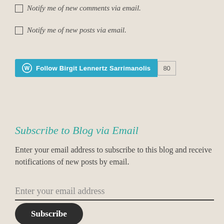Notify me of new comments via email.
Notify me of new posts via email.
[Figure (other): WordPress Follow Button widget for 'Birgit Lennertz Sarrimanolis' with follower count badge showing 80]
Subscribe to Blog via Email
Enter your email address to subscribe to this blog and receive notifications of new posts by email.
Enter your email address
Subscribe